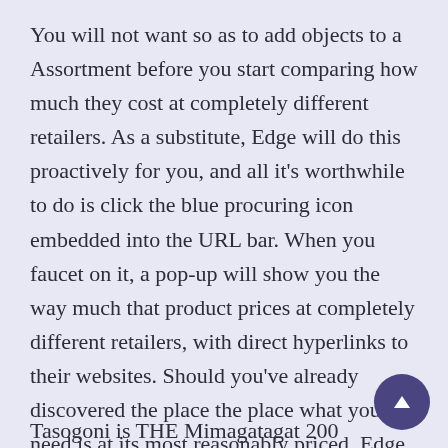You will not want so as to add objects to a Assortment before you start comparing how much they cost at completely different retailers. As a substitute, Edge will do this proactively for you, and all it's worthwhile to do is click the blue procuring icon embedded into the URL bar. When you faucet on it, a pop-up will show you the way much that product prices at completely different retailers, with direct hyperlinks to their websites. Should you've already discovered the place the place what you need is at its most reasonably priced, Edge will let you already know that too.
Tasogoni is THE Mimagatagat 200